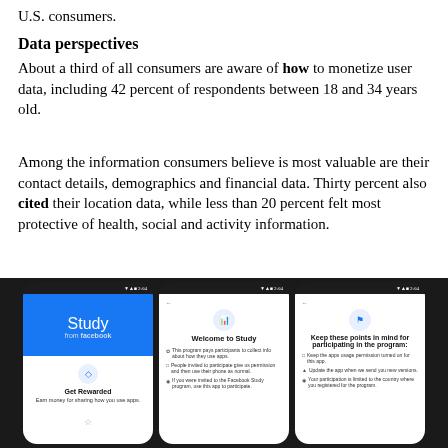U.S. consumers.
Data perspectives
About a third of all consumers are aware of how to monetize user data, including 42 percent of respondents between 18 and 34 years old.
Among the information consumers believe is most valuable are their contact details, demographics and financial data. Thirty percent also cited their location data, while less than 20 percent felt most protective of health, social and activity information.
[Figure (photo): Three smartphone screenshots showing the Facebook Study app: first screen shows 'Study from Facebook' with 'Get Rewarded' and 'Earn money for sharing how you use apps'; second screen shows 'Welcome to Study' with bullet points about the program; third screen shows 'Keep these points in mind for participating in the program' with additional bullet points.]